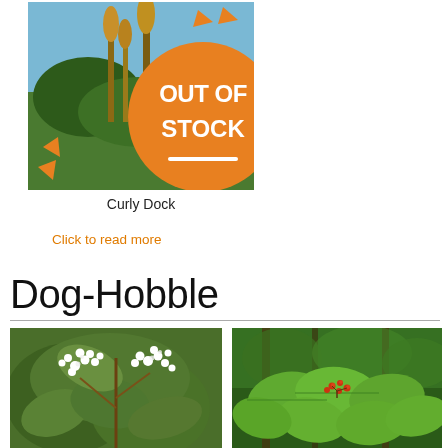[Figure (photo): Photo of Curly Dock plant with orange OUT OF STOCK overlay badge]
Curly Dock
Click to read more
Dog-Hobble
[Figure (photo): Close-up photo of Dog-Hobble plant with white flowers and green leaves]
[Figure (photo): Photo of Dog-Hobble plant showing large green leaves with red berries in forest setting]